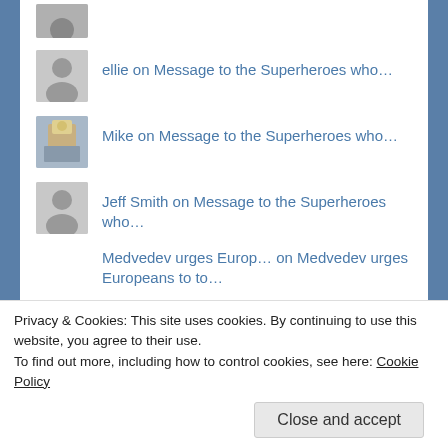ellie on Message to the Superheroes who…
Mike on Message to the Superheroes who…
Jeff Smith on Message to the Superheroes who…
Medvedev urges Europ… on Medvedev urges Europeans to to…
anon on Ghost Town Facebook Banned 1.3…
Eternal Anglo Seax (… on Message to the Superheroes who…
Privacy & Cookies: This site uses cookies. By continuing to use this website, you agree to their use.
To find out more, including how to control cookies, see here: Cookie Policy
Close and accept